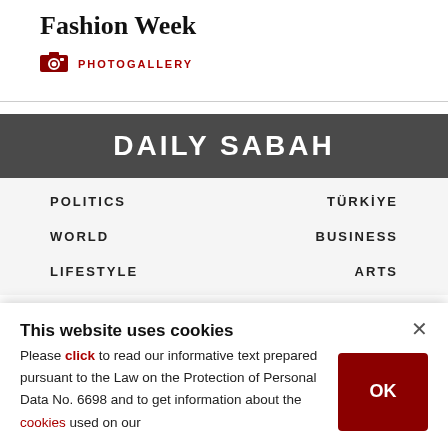Fashion Week
PHOTOGALLERY
DAILY SABAH
POLITICS
TÜRKİYE
WORLD
BUSINESS
LIFESTYLE
ARTS
This website uses cookies
Please click to read our informative text prepared pursuant to the Law on the Protection of Personal Data No. 6698 and to get information about the cookies used on our